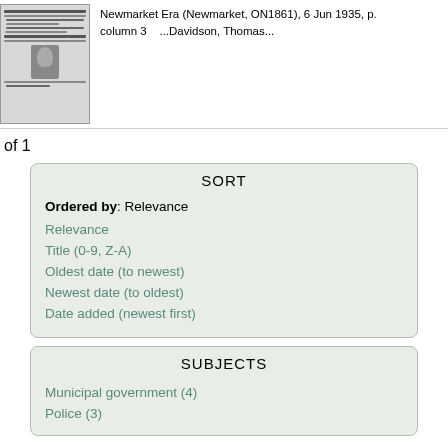[Figure (photo): Thumbnail of a newspaper page (Newmarket Era) showing headlines and a portrait photo of a man]
Newmarket Era (Newmarket, ON1861), 6 Jun 1935, p. column 3    ...Davidson, Thomas...
of 1
SORT
Ordered by: Relevance
Relevance
Title (0-9, Z-A)
Oldest date (to newest)
Newest date (to oldest)
Date added (newest first)
SUBJECTS
Municipal government (4)
Police (3)